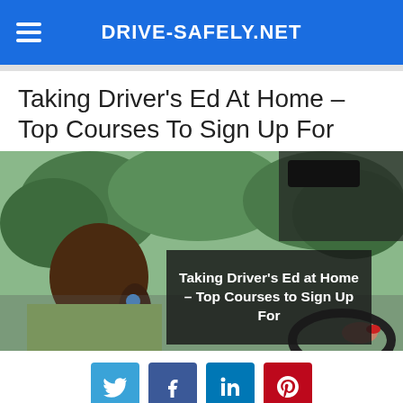DRIVE-SAFELY.NET
Taking Driver's Ed At Home – Top Courses To Sign Up For
[Figure (photo): Young female driver in car with trees visible through windshield, with overlay text: Taking Driver's Ed at Home – Top Courses to Sign Up For]
[Figure (infographic): Social media share buttons: Twitter, Facebook, LinkedIn, Pinterest]